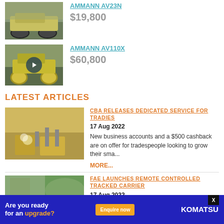[Figure (photo): Yellow road roller / compactor machine outdoors]
AMMANN AV23N
$19,800
[Figure (photo): Yellow tandem road roller with play button overlay (video thumbnail)]
AMMANN AV110X
$60,800
LATEST ARTICLES
[Figure (photo): Aerial view of construction workers on a building site]
CBA RELEASES DEDICATED SERVICE FOR TRADIES
17 Aug 2022
New business accounts and a $500 cashback are on offer for tradespeople looking to grow their sma...
MORE...
[Figure (photo): Hillside with trees and mountains in background, FAE remote controlled tracked carrier article]
FAE LAUNCHES REMOTE CONTROLLED TRACKED CARRIER
17 Aug 2022
[Figure (infographic): Komatsu advertisement banner: Are you ready for an upgrade? Enquire now. Komatsu logo.]